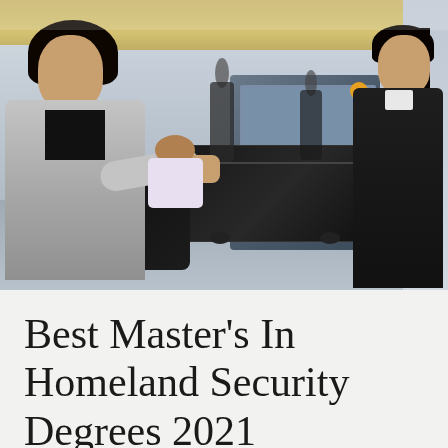[Figure (photo): Airport security checkpoint scene showing a woman in a grey jacket placing a large black rolling suitcase on a conveyor belt, with a child beside her. A security agent in a black outfit with a red badge stands across the belt. Background figures walk through the terminal with a security scanner visible.]
Best Master's In Homeland Security Degrees 2021